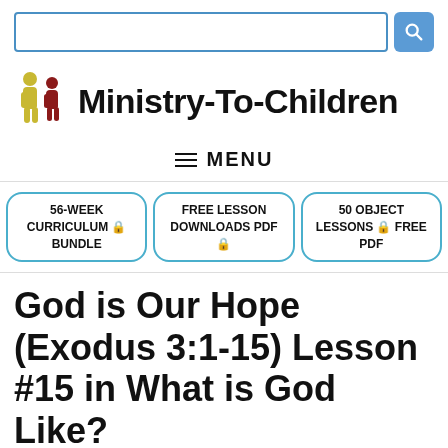[Figure (screenshot): Search bar with blue border and blue search button with magnifying glass icon]
[Figure (logo): Ministry-To-Children logo with two child figure icons (yellow and red) next to bold text 'Ministry-To-Children']
≡ MENU
56-WEEK CURRICULUM 🔒 BUNDLE
FREE LESSON DOWNLOADS PDF 🔒
50 OBJECT LESSONS 🔒 FREE PDF
God is Our Hope (Exodus 3:1-15) Lesson #15 in What is God Like?